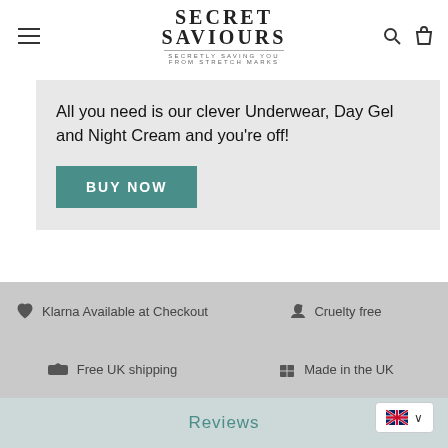SECRET SAVIOURS — SECRETLY SAVING YOU FROM STRETCH MARKS
All you need is our clever Underwear, Day Gel and Night Cream and you're off!
BUY NOW
♥ Klarna Available at Checkout   🐰 Cruelty free   🚚 Free UK shipping   🎁 Made in the UK
Reviews